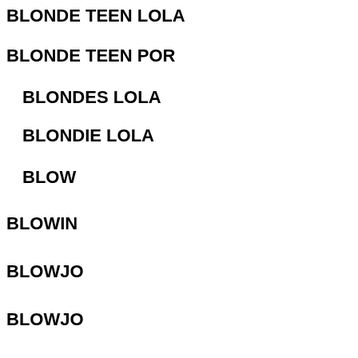BLONDE TEEN LOLA
BLONDE TEEN POR
BLONDES LOLA
BLONDIE LOLA
BLOW
BLOWIN
BLOWJO
BLOWJO
[Figure (screenshot): Black video player with loading spinner, showing controls bar with play button, progress bar, time display 00:00/03:48, volume slider, and fullscreen button]